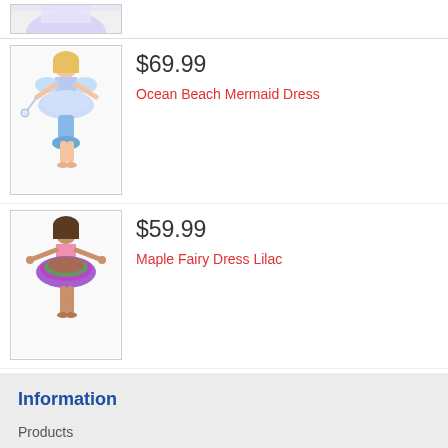[Figure (photo): Partial product image at top, cropped]
$69.99
Ocean Beach Mermaid Dress
[Figure (photo): Girl wearing Ocean Beach Mermaid Dress costume in light blue]
$59.99
Maple Fairy Dress Lilac
[Figure (photo): Girl wearing Maple Fairy Dress Lilac costume with colorful tutu]
Information
Products
About Us
Shipping & Returns